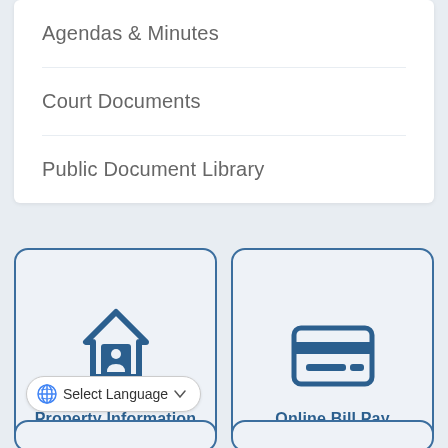Agendas & Minutes
Court Documents
Public Document Library
[Figure (screenshot): Property Information card with house/person icon and blue border]
[Figure (screenshot): Online Bill Pay card with credit card icon and blue border]
Select Language